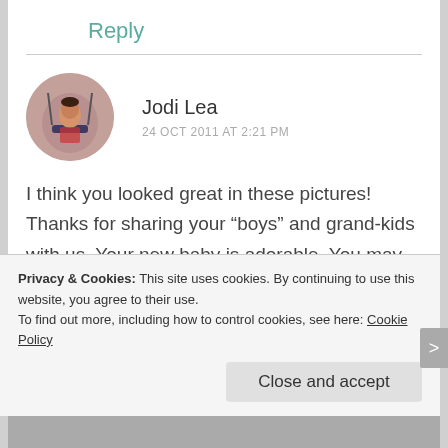Reply
[Figure (photo): Circular avatar photo of a child on a swing, pink/mauve background]
Jodi Lea
24 OCT 2011 AT 2:21 PM
I think you looked great in these pictures! Thanks for sharing your "boys" and grand-kids with us. Your new baby is adorable. You may know this already, but cow-hooves (you can get them in pet stores) will keep chewy puppies busy for at least 10-15 minutes at a time 😉
Privacy & Cookies: This site uses cookies. By continuing to use this website, you agree to their use.
To find out more, including how to control cookies, see here: Cookie Policy
Close and accept